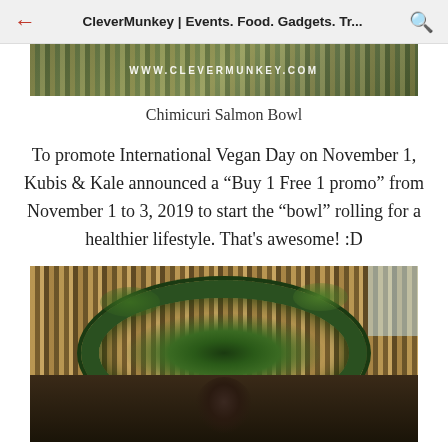CleverMunkey | Events. Food. Gadgets. Tr...
[Figure (photo): Top portion of a food photo showing WWW.CLEVERMUNKEY.COM watermark overlay on what appears to be a Chimicuri Salmon Bowl dish]
Chimicuri Salmon Bowl
To promote International Vegan Day on November 1, Kubis & Kale announced a “Buy 1 Free 1 promo” from November 1 to 3, 2019 to start the “bowl” rolling for a healthier lifestyle. That's awesome! :D
[Figure (photo): Photo of a person standing in front of a decorative wall with vertical wooden/bamboo strips and a large circular arrangement of tropical plants and ferns]